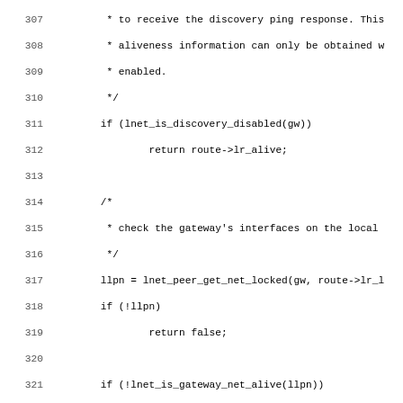[Figure (screenshot): Source code listing showing C code lines 307-339, including gateway discovery check, interface check, single-hop route logic, and spin_lock calls.]